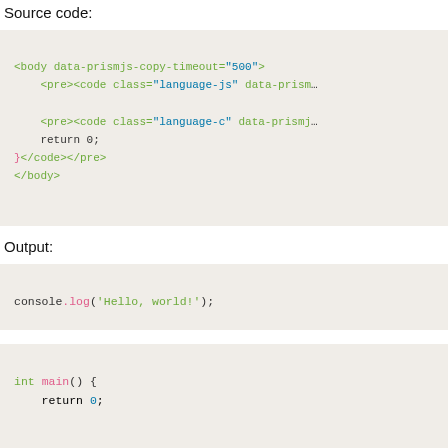Source code:
[Figure (screenshot): Syntax-highlighted HTML source code block showing <body data-prismjs-copy-timeout="500"> with nested <pre><code class="language-js" data-prism...> and <pre><code class="language-c" data-prismj...> with return 0; and closing tags },</code></pre>, </body>]
Output:
[Figure (screenshot): Syntax-highlighted output block showing: console.log('Hello, world!');]
[Figure (screenshot): Syntax-highlighted output block showing: int main() { return 0;]